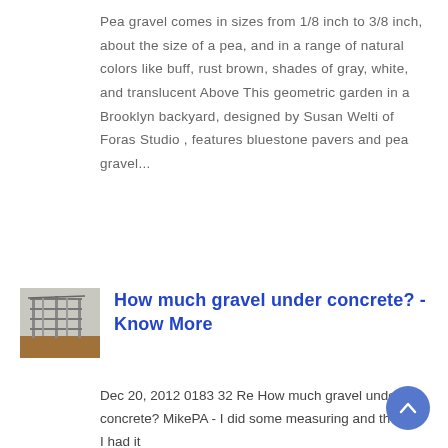Pea gravel comes in sizes from 1/8 inch to 3/8 inch, about the size of a pea, and in a range of natural colors like buff, rust brown, shades of gray, white, and translucent Above This geometric garden in a Brooklyn backyard, designed by Susan Welti of Foras Studio , features bluestone pavers and pea gravel...
[Figure (photo): Thumbnail photo of a steel structure or industrial building with reddish ground]
How much gravel under concrete? - Know More
Dec 20, 2012 0183 32 Re How much gravel under concrete? MikePA - I did some measuring and thought I had it